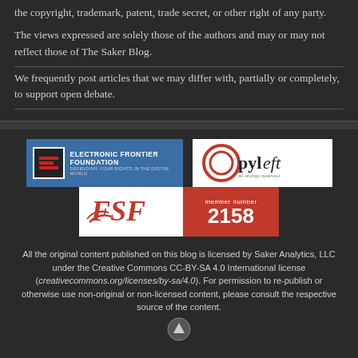the copyright, trademark, patent, trade secret, or other right of any party.
The views expressed are solely those of the authors and may or may not reflect those of The Saker Blog.
We frequently post articles that we may differ with, partially or completely, to support open debate.
[Figure (logo): Electronic Frontier Foundation logo - blue background with EFF icon and text 'ELECTRONIC FRONTIER FOUNDATION DEFENDING YOUR RIGHTS IN THE DIGITAL WORLD']
[Figure (logo): Copyleft logo - white background with circular C symbol and text 'Copyleft all wrongs reserved']
[Figure (logo): FSF logo with member number 2158 - white left side with FSF icon, red right side with 'member number 2158']
All the original content published on this blog is licensed by Saker Analytics, LLC under the Creative Commons CC-BY-SA 4.0 International license (creativecommons.org/licenses/by-sa/4.0). For permission to re-publish or otherwise use non-original or non-licensed content, please consult the respective source of the content.